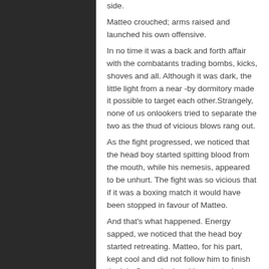side.

Matteo crouched; arms raised and launched his own offensive.

In no time it was a back and forth affair with the combatants trading bombs, kicks, shoves and all. Although it was dark, the little light from a near -by dormitory made it possible to target each other.Strangely, none of us onlookers tried to separate the two as the thud of vicious blows rang out.

As the fight progressed, we noticed that the head boy started spitting blood from the mouth, while his nemesis, appeared to be unhurt. The fight was so vicious that if it was a boxing match it would have been stopped in favour of Matteo.

And that's what happened. Energy sapped, we noticed that the head boy started retreating. Matteo, for his part, kept cool and did not follow him to finish the job. Soon, the head boy started walking back to his